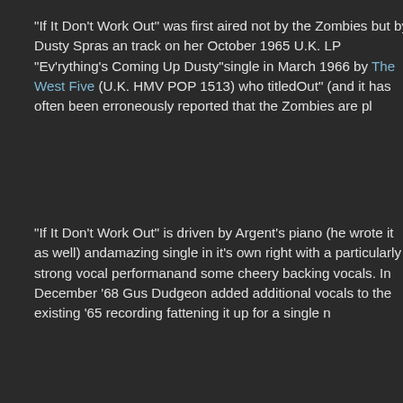"If It Don't Work Out" was first aired not by the Zombies but by Dusty Spr... as an track on her October 1965 U.K. LP "Ev'rything's Coming Up Dusty"... single in March 1966 by The West Five (U.K. HMV POP 1513) who titled... Out" (and it has often been erroneously reported that the Zombies are pl...
"If It Don't Work Out" is driven by Argent's piano (he wrote it as well) and... amazing single in it's own right with a particularly strong vocal performan... and some cheery backing vocals. In December '68 Gus Dudgeon added ... additional vocals to the existing '65 recording fattening it up for a single r...
[Figure (photo): Black and white photograph of a young man with a mop-top hairstyle looking upward, shot outdoors with a building in the background.]